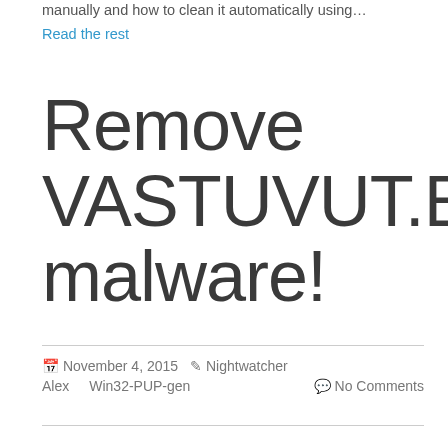manually and how to clean it automatically using…
Read the rest
Remove VASTUVUT.EXE malware!
November 4, 2015   Nightwatcher Alex   Win32-PUP-gen   No Comments